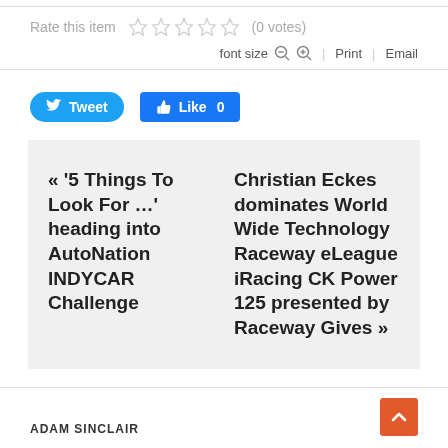Rate this item ☆ ☆ ☆ ☆ ☆ (0 votes)
font size  −  +  |  Print  |  Email
[Figure (other): Tweet button (blue rounded) and Like 0 button (blue rectangle) social sharing buttons]
« '5 Things To Look For …' heading into AutoNation INDYCAR Challenge
Christian Eckes dominates World Wide Technology Raceway eLeague iRacing CK Power 125 presented by Raceway Gives »
ADAM SINCLAIR